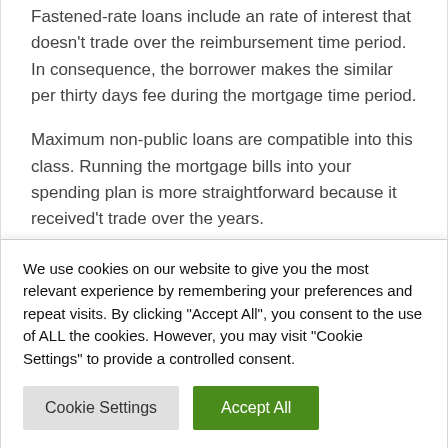Fastened-rate loans include an rate of interest that doesn't trade over the reimbursement time period. In consequence, the borrower makes the similar per thirty days fee during the mortgage time period.
Maximum non-public loans are compatible into this class. Running the mortgage bills into your spending plan is more straightforward because it received't trade over the years.
Variable-rate loans
We use cookies on our website to give you the most relevant experience by remembering your preferences and repeat visits. By clicking "Accept All", you consent to the use of ALL the cookies. However, you may visit "Cookie Settings" to provide a controlled consent.